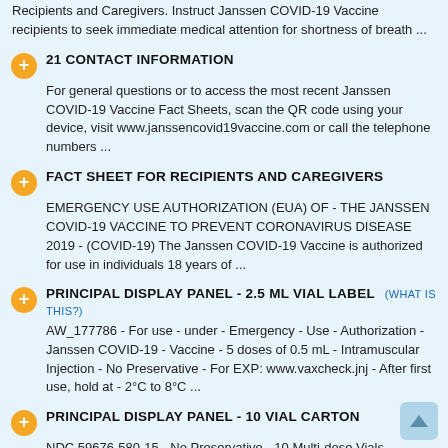Recipients and Caregivers. Instruct Janssen COVID-19 Vaccine recipients to seek immediate medical attention for shortness of breath ...
21 CONTACT INFORMATION
For general questions or to access the most recent Janssen COVID-19 Vaccine Fact Sheets, scan the QR code using your device, visit www.janssencovid19vaccine.com or call the telephone numbers ...
FACT SHEET FOR RECIPIENTS AND CAREGIVERS
EMERGENCY USE AUTHORIZATION (EUA) OF - THE JANSSEN COVID-19 VACCINE TO PREVENT CORONAVIRUS DISEASE 2019 - (COVID-19) The Janssen COVID-19 Vaccine is authorized for use in individuals 18 years of ...
PRINCIPAL DISPLAY PANEL - 2.5 ML VIAL LABEL (WHAT IS THIS?)
AW_177786 - For use - under - Emergency - Use - Authorization - Janssen COVID-19 - Vaccine - 5 doses of 0.5 mL - Intramuscular Injection - No Preservative - For EXP: www.vaxcheck.jnj - After first use, hold at - 2°C to 8°C ...
PRINCIPAL DISPLAY PANEL - 10 VIAL CARTON
NDC 59676-580-15 - No Preservative - 10 Multi-dose Vials -